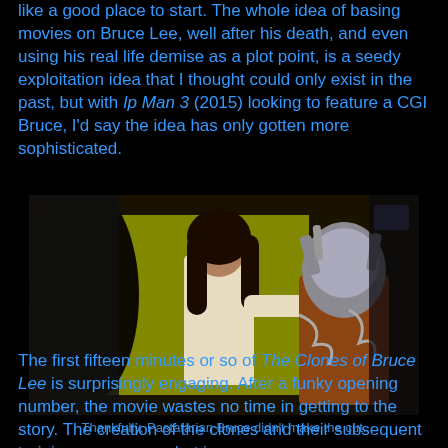like a good place to start. The whole idea of basing movies on Bruce Lee, well after his death, and even using his real life demise as a plot point, is a seedy exploitation idea that I thought could only exist in the past, but with Ip Man 3 (2015) looking to feature a CGI Bruce, I'd say the idea has only gotten more sophisticated.
[Figure (photo): A scene from a movie showing a woman in a white outfit reaching toward a helmeted figure. The background appears yellowish-green.]
Thankfully, Pastafarian Bruce didn't make the cut.
The first fifteen minutes or so of The Clones of Bruce Lee is surprisingly engaging. After a funky opening number, the movie wastes no time in getting to the story. The creation of the clones and their subsequent training scenes are shot in